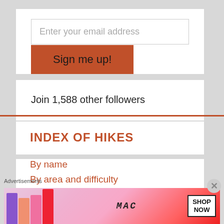Enter your email address
Sign me up!
Join 1,588 other followers
INDEX OF HIKES
By name
By area and difficulty
Maps by area
Advertisements
[Figure (illustration): MAC Cosmetics advertisement banner showing lipsticks and SHOP NOW button]